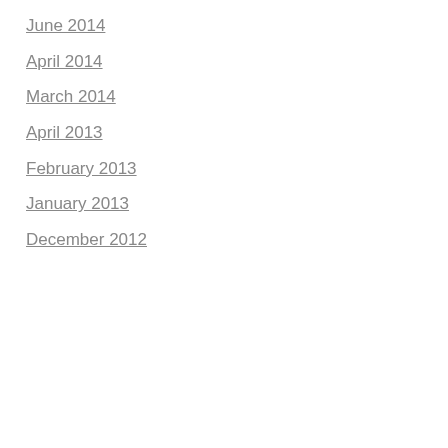June 2014
April 2014
March 2014
April 2013
February 2013
January 2013
December 2012